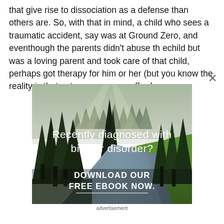that give rise to dissociation as a defense than others are. So, with that in mind, a child who sees a traumatic accident, say was at Ground Zero, and eventhough the parents didn't abuse th echild but was a loving parent and took care of that child, perhaps got therapy for him or her (but you know the reality is that not everyone can afford
[Figure (illustration): Advertisement image showing a forest and river landscape with text 'Recently diagnosed with bipolar disorder? DOWNLOAD OUR FREE EBOOK NOW.' overlaid on the image.]
advertisement